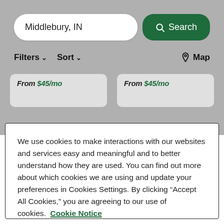[Figure (screenshot): Grayed-out background of a web search interface showing Middlebury, IN search bar, Filters/Sort/Map controls, and two listing cards showing 'From $45/mo' pricing]
We use cookies to make interactions with our websites and services easy and meaningful and to better understand how they are used. You can find out more about which cookies we are using and update your preferences in Cookies Settings. By clicking “Accept All Cookies,” you are agreeing to our use of cookies. Cookie Notice
Cookies Settings
Accept All Cookies